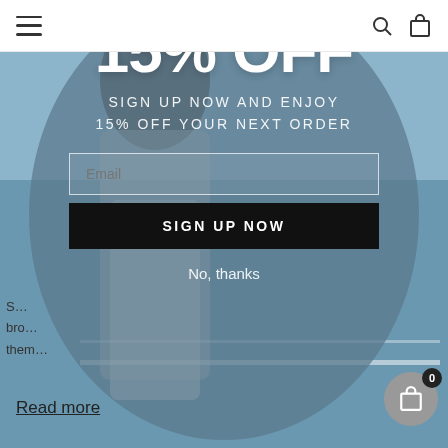[Figure (screenshot): E-commerce website screenshot with navigation bar, circular popup modal over a fashion photo background. Modal shows 15% OFF discount promotion with email signup form, 'SIGN UP NOW' button, and 'No, thanks' link. Bottom left has partial text content and 'Read more' link. Bottom right has shopping cart icon with badge showing 0.]